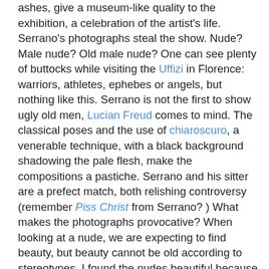ashes, give a museum-like quality to the exhibition, a celebration of the artist's life. Serrano's photographs steal the show. Nude? Male nude? Old male nude? One can see plenty of buttocks while visiting the Uffizi in Florence: warriors, athletes, ephebes or angels, but nothing like this. Serrano is not the first to show ugly old men, Lucian Freud comes to mind. The classical poses and the use of chiaroscuro, a venerable technique, with a black background shadowing the pale flesh, make the compositions a pastiche. Serrano and his sitter are a prefect match, both relishing controversy (remember Piss Christ from Serrano? ) What makes the photographs provocative? When looking at a nude, we are expecting to find beauty, but beauty cannot be old according to stereotypes. I found the nudes beautiful because genuine. Mead is not afraid to expose himself, embracing his appearance, his frailty, with a wink in the eyes, defiant of time, for ever young. What disturbs the viewer is that the photographs, like mirrors in fairy tales, represent the time to come. The recoil at first look is a learned behavior, similar to looking at spiders or snakes. Is not art supposed to bring us out of our comfort zone? To quote Mead:" You want to play around with poets but you